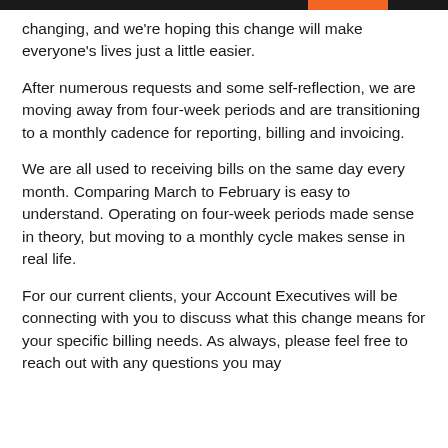changing, and we're hoping this change will make everyone's lives just a little easier.
After numerous requests and some self-reflection, we are moving away from four-week periods and are transitioning to a monthly cadence for reporting, billing and invoicing.
We are all used to receiving bills on the same day every month. Comparing March to February is easy to understand. Operating on four-week periods made sense in theory, but moving to a monthly cycle makes sense in real life.
For our current clients, your Account Executives will be connecting with you to discuss what this change means for your specific billing needs. As always, please feel free to reach out with any questions you may